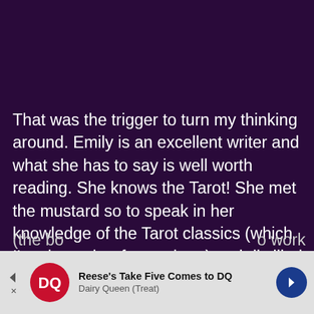That was the trigger to turn my thinking around. Emily is an excellent writer and what she has to say is well worth reading. She knows the Tarot! She met the mustard so to speak in her knowledge of the Tarot classics (which I'm also rather fussy about) and distilled all that she understood about the Tarot to one central image. But she doesn't just stop there! Throughout this book she gives many, many examples of readings done with this deck and I delighted in reading every one of them. By page 56 (the bo... o work with th...
[Figure (screenshot): Advertisement banner for Dairy Queen featuring Reese's Take Five Comes to DQ, with DQ logo, navigation arrows, and close button]